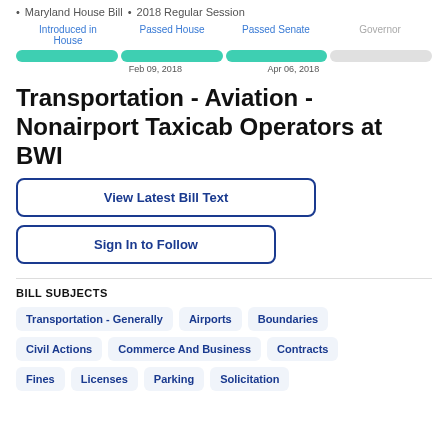Maryland House Bill • 2018 Regular Session
[Figure (infographic): Legislative progress bar showing four stages: Introduced in House (complete), Passed House (complete, Feb 09, 2018), Passed Senate (complete, Apr 06, 2018), Governor (incomplete/gray)]
Transportation - Aviation - Nonairport Taxicab Operators at BWI
View Latest Bill Text
Sign In to Follow
BILL SUBJECTS
Transportation - Generally
Airports
Boundaries
Civil Actions
Commerce And Business
Contracts
Fines
Licenses
Parking
Solicitation